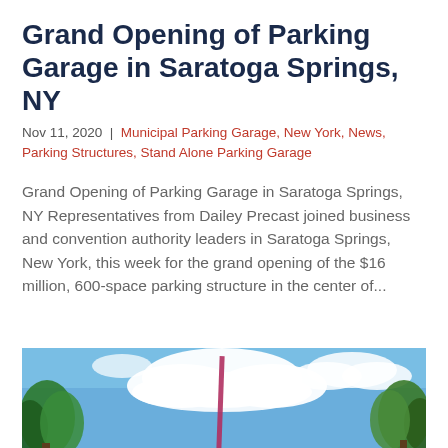Grand Opening of Parking Garage in Saratoga Springs, NY
Nov 11, 2020 | Municipal Parking Garage, New York, News, Parking Structures, Stand Alone Parking Garage
Grand Opening of Parking Garage in Saratoga Springs, NY Representatives from Dailey Precast joined business and convention authority leaders in Saratoga Springs, New York, this week for the grand opening of the $16 million, 600-space parking structure in the center of...
[Figure (photo): Outdoor photo showing a blue sky with white clouds, green trees on the left and right edges, and a purple/red pole or structure in the center. Appears to be a view looking upward at the parking garage area surroundings.]